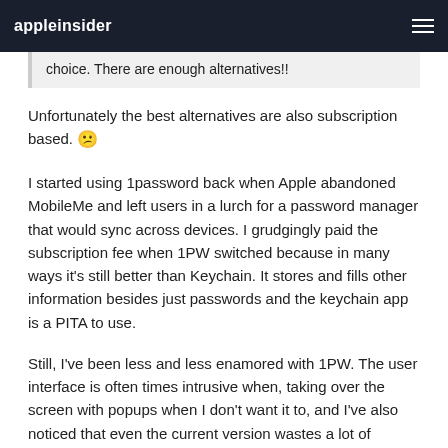appleinsider
choice. There are enough alternatives!!
Unfortunately the best alternatives are also subscription based. 😕
I started using 1password back when Apple abandoned MobileMe and left users in a lurch for a password manager that would sync across devices. I grudgingly paid the subscription fee when 1PW switched because in many ways it's still better than Keychain. It stores and fills other information besides just passwords and the keychain app is a PITA to use.
Still, I've been less and less enamored with 1PW. The user interface is often times intrusive when, taking over the screen with popups when I don't want it to, and I've also noticed that even the current version wastes a lot of energy and was contributing to excessive battery drain in my MBP. I shudde to think how much power the electron version is going to